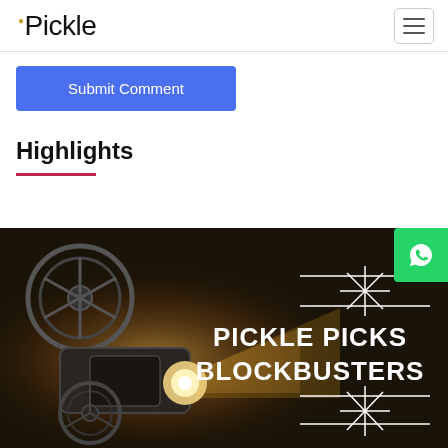Pickle
Submit Comment
Highlights
[Figure (photo): Movie projector banner image with text 'PICKLE PICKS BLOCKBUSTERS' on a dark cinematic background with film reel projector]